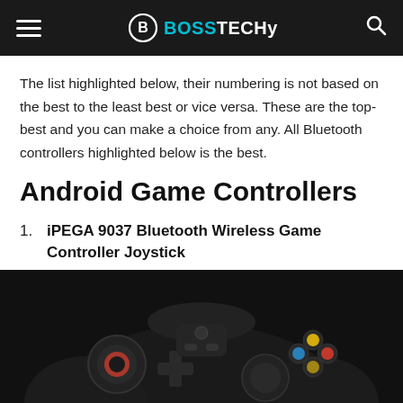BOSSTECHY
The list highlighted below, their numbering is not based on the best to the least best or vice versa. These are the top-best and you can make a choice from any. All Bluetooth controllers highlighted below is the best.
Android Game Controllers
iPEGA 9037 Bluetooth Wireless Game Controller Joystick
[Figure (photo): Photo of a black iPEGA 9037 Bluetooth wireless game controller joystick showing the top view with analog sticks, buttons including colored face buttons (yellow, blue, red) and red-accented left analog stick, partially cropped at the bottom of the page.]